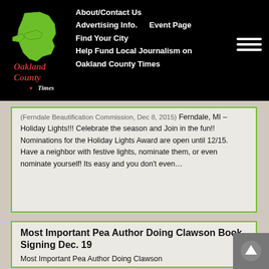Oakland County Times — About/Contact Us | Advertising Info. | Event Page | Find Your City | Help Fund Local Journalism on Oakland County Times
(Ferndale Beautification Commission, Dec 8, 2015) Ferndale, MI – Holiday Lights!!! Celebrate the season and Join in the fun!! Nominations for the Holiday Lights Award are open until 12/15.  Have a neighbor with festive lights, nominate them, or even nominate yourself! Its easy and you don't even…
Most Important Pea Author Doing Clawson Book Signing Dec. 19
Most Important Pea Author Doing Clawson